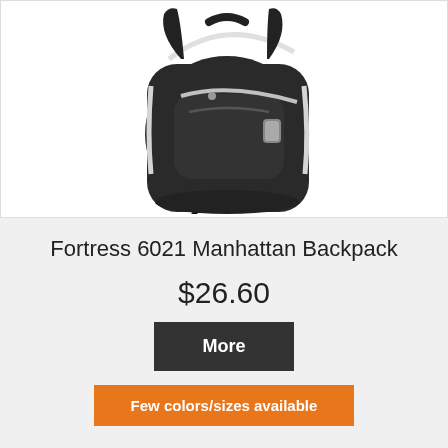[Figure (photo): Black Fortress 6021 Manhattan Backpack product photo on white background, showing front view with white zipper accents and shoulder straps]
Fortress 6021 Manhattan Backpack
$26.60
More
Few colors/sizes available